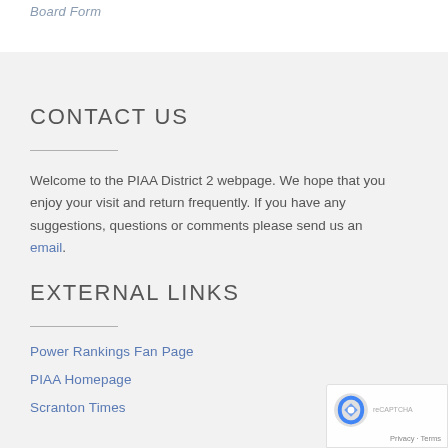Board Form
CONTACT US
Welcome to the PIAA District 2 webpage. We hope that you enjoy your visit and return frequently. If you have any suggestions, questions or comments please send us an email.
EXTERNAL LINKS
Power Rankings Fan Page
PIAA Homepage
Scranton Times